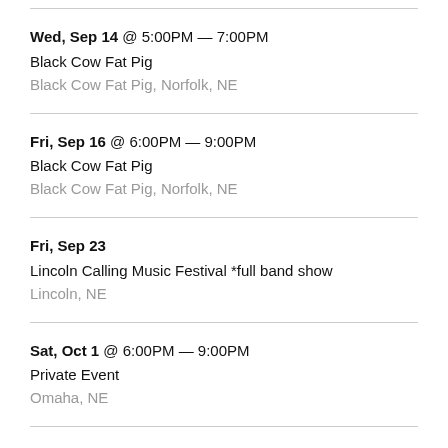Wed, Sep 14 @ 5:00PM — 7:00PM
Black Cow Fat Pig
Black Cow Fat Pig, Norfolk, NE
Fri, Sep 16 @ 6:00PM — 9:00PM
Black Cow Fat Pig
Black Cow Fat Pig, Norfolk, NE
Fri, Sep 23
Lincoln Calling Music Festival *full band show
Lincoln, NE
Sat, Oct 1 @ 6:00PM — 9:00PM
Private Event
Omaha, NE
Fri, Oct...